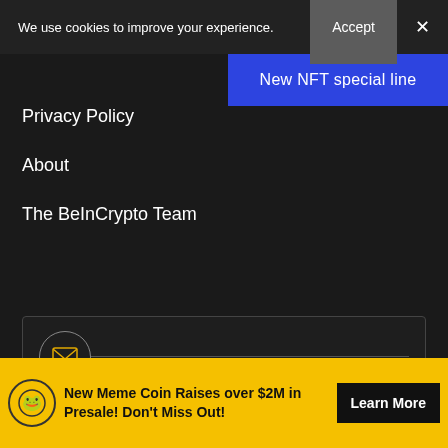We use cookies to improve your experience.
Accept
×
New NFT special line
Privacy Policy
About
The BeInCrypto Team
BEINCRYPTO NEWS NOW!
Stay tuned with daily newsletters that make reading the news simple and enjoyable
Place Your Email Here
New Meme Coin Raises over $2M in Presale! Don't Miss Out!
Learn More